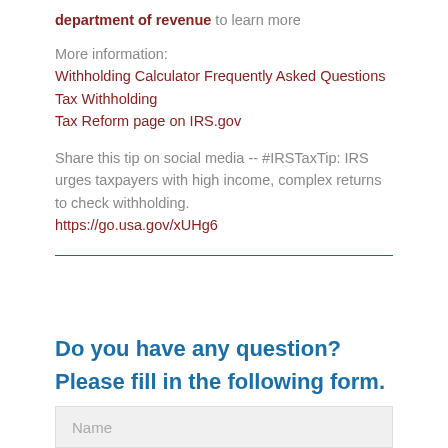department of revenue to learn more
More information:
Withholding Calculator Frequently Asked Questions
Tax Withholding
Tax Reform page on IRS.gov
Share this tip on social media -- #IRSTaxTip: IRS urges taxpayers with high income, complex returns to check withholding.
https://go.usa.gov/xUHg6
Do you have any question?
Please fill in the following form.
Name